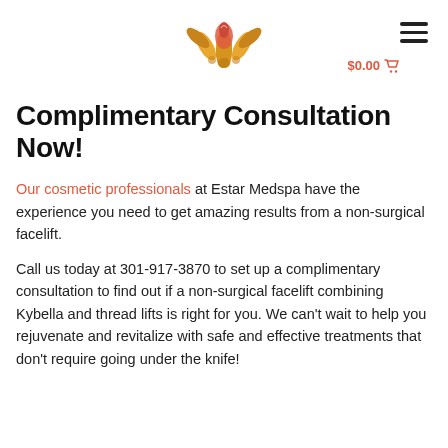Estar Medspa — logo and navigation
Complimentary Consultation Now!
Our cosmetic professionals at Estar Medspa have the experience you need to get amazing results from a non-surgical facelift.
Call us today at 301-917-3870 to set up a complimentary consultation to find out if a non-surgical facelift combining Kybella and thread lifts is right for you. We can't wait to help you rejuvenate and revitalize with safe and effective treatments that don't require going under the knife!